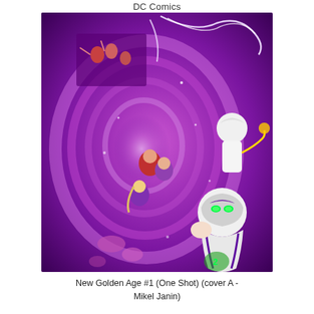DC Comics
[Figure (illustration): Comic book cover art for New Golden Age #1 (One Shot) cover A by Mikel Janin. The cover features a swirling purple and pink vortex with multiple superhero characters caught in its spiral. A hero in a white and purple costume with glowing green eyes is prominent in the foreground, along with a character in white with a cap on the right side. Several other heroes are visible within the swirling energy vortex. Lightning-like white energy arcs across the top of the image.]
New Golden Age #1 (One Shot) (cover A - Mikel Janin)